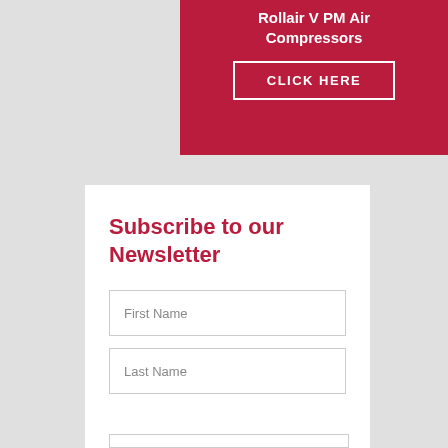Rollair V PM Air Compressors
CLICK HERE
Subscribe to our Newsletter
First Name
Last Name